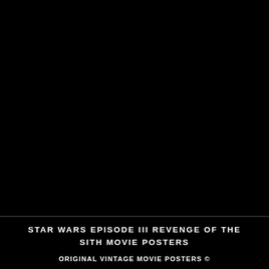[Figure (photo): Large black area occupying the upper portion of the page, likely representing a dark movie poster image area.]
STAR WARS EPISODE III REVENGE OF THE SITH MOVIE POSTERS
ORIGINAL VINTAGE MOVIE POSTERS ©